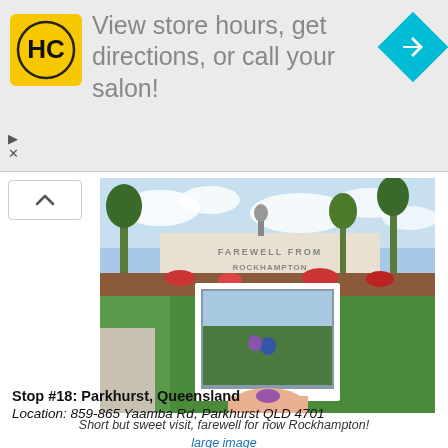[Figure (other): Advertisement banner for Hair Club (HC) salon with yellow logo, text 'View store hours, get directions, or call your salon!' and a cyan navigation arrow icon]
[Figure (photo): Photo of a person holding a polaroid-style photograph in front of a 'Farewell from Rockhampton' sign with garden and palm trees in background]
Short but sweet visit, farewell for now Rockhampton!
large image
Stop #18: Parkhurst, Queensland
Location: 859-865 Yaamba Rd, Parkhurst QLD 4701